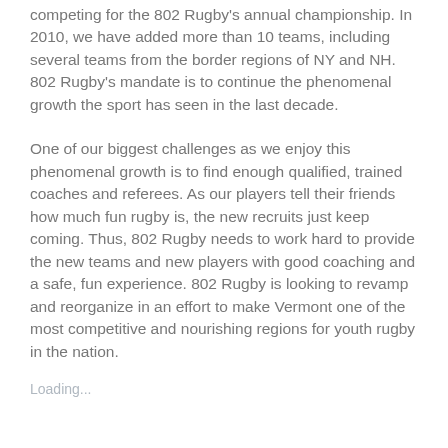competing for the 802 Rugby's annual championship. In 2010, we have added more than 10 teams, including several teams from the border regions of NY and NH. 802 Rugby's mandate is to continue the phenomenal growth the sport has seen in the last decade.
One of our biggest challenges as we enjoy this phenomenal growth is to find enough qualified, trained coaches and referees. As our players tell their friends how much fun rugby is, the new recruits just keep coming. Thus, 802 Rugby needs to work hard to provide the new teams and new players with good coaching and a safe, fun experience. 802 Rugby is looking to revamp and reorganize in an effort to make Vermont one of the most competitive and nourishing regions for youth rugby in the nation.
Loading...